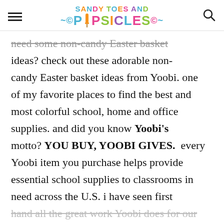Sandy Toes and Popsicles
need some non-candy Easter basket ideas? check out these adorable non-candy Easter basket ideas from Yoobi. one of my favorite places to find the best and most colorful school, home and office supplies. and did you know Yoobi's motto? YOU BUY, YOOBI GIVES. every Yoobi item you purchase helps provide essential school supplies to classrooms in need across the U.S. i have seen first hand all the great work Yoobi does for our local schools....we just love them for all